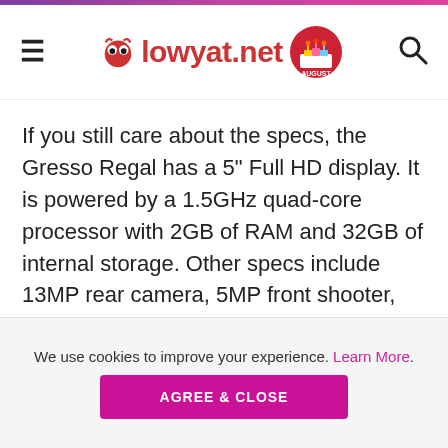lowyat.net
If you still care about the specs, the Gresso Regal has a 5" Full HD display. It is powered by a 1.5GHz quad-core processor with 2GB of RAM and 32GB of internal storage. Other specs include 13MP rear camera, 5MP front shooter, runs on an unmentioned version of Android, and sadly, does not have any LTE on board.
We use cookies to improve your experience. Learn More.
AGREE & CLOSE